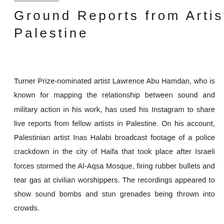Ground Reports from Artists in Palestine
Turner Prize-nominated artist Lawrence Abu Hamdan, who is known for mapping the relationship between sound and military action in his work, has used his Instagram to share live reports from fellow artists in Palestine. On his account, Palestinian artist Inas Halabi broadcast footage of a police crackdown in the city of Haifa that took place after Israeli forces stormed the Al-Aqsa Mosque, firing rubber bullets and tear gas at civilian worshippers. The recordings appeared to show sound bombs and stun grenades being thrown into crowds.